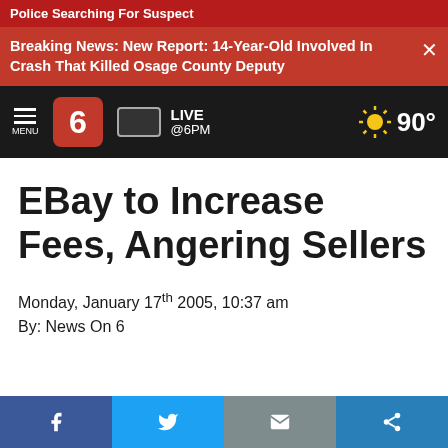Police Searching For Suspect
Breaking News: New Report: 14-Year-Old Involved In Crash That Killed Osage County Deputy
[Figure (screenshot): News On 6 navigation bar with hamburger menu, channel 6 logo, live TV icon, LIVE @6PM text, and weather showing sun icon and 90 degrees]
EBay to Increase Fees, Angering Sellers
Monday, January 17th 2005, 10:37 am
By: News On 6
[Figure (infographic): Social sharing bar with Facebook, Twitter, email, and share buttons]